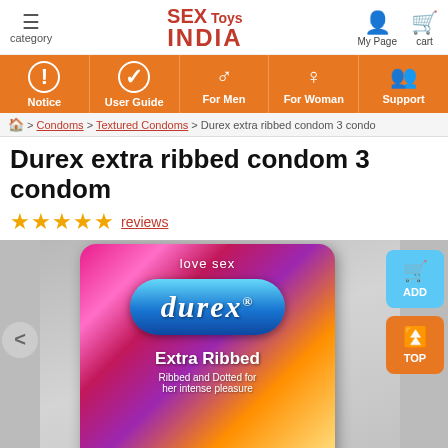SEX Toys INDIA — category | My Page | cart
[Figure (screenshot): Navigation bar with icons: Notice, User Guide, For Men, For Woman, Support on orange background]
🏠 > Condoms > Textured Condoms > Durex extra ribbed condom 3 condo
Durex extra ribbed condom 3 condom
★★★★★ reviews
[Figure (photo): Durex Extra Ribbed condom 3-pack box with pink/magenta holographic packaging showing 'love sex', durex logo in blue oval, 'Extra Ribbed' text, 'Ribbed and Dotted for her intense pleasure' text on grey background]